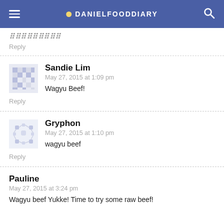DANIELFOODDIARY
Reply
Sandie Lim
May 27, 2015 at 1:09 pm
Wagyu Beef!
Reply
Gryphon
May 27, 2015 at 1:10 pm
wagyu beef
Reply
Pauline
May 27, 2015 at 3:24 pm
Wagyu beef Yukke! Time to try some raw beef!